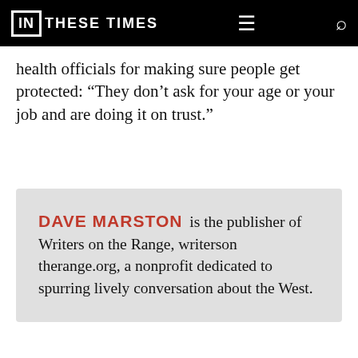IN THESE TIMES
health officials for making sure people get protected: “They don’t ask for your age or your job and are doing it on trust.”
DAVE MARSTON is the publisher of Writers on the Range, writersontherange.org, a nonprofit dedicated to spurring lively conversation about the West.